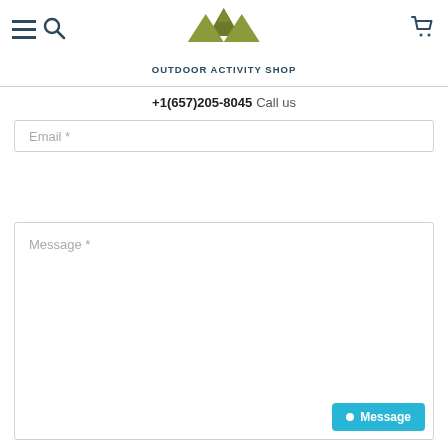[Figure (logo): Outdoor Activity Shop logo with mountain SVG graphic and text 'OUTDOOR ACTIVITY SHOP']
+1(657)205-8045  Call us
Email *
Message *